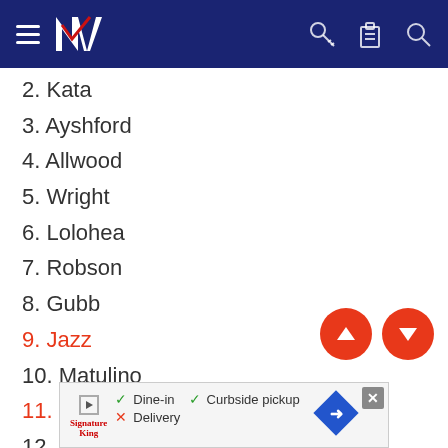NZ — navigation header with hamburger menu, NZ logo, key icon, clipboard icon, search icon
2. Kata
3. Ayshford
4. Allwood
5. Wright
6. Lolohea
7. Robson
8. Gubb
9. Jazz
10. Matulino
11. Lisone
12. Hoffman (c)
13. Mannering
14. Roach
15. Vete
16. Thompson
17. Gavet
[Figure (screenshot): Advertisement banner: Signature King logo, Dine-in checkmark, Curbside pickup checkmark, Delivery cross, diamond direction icon, close button]